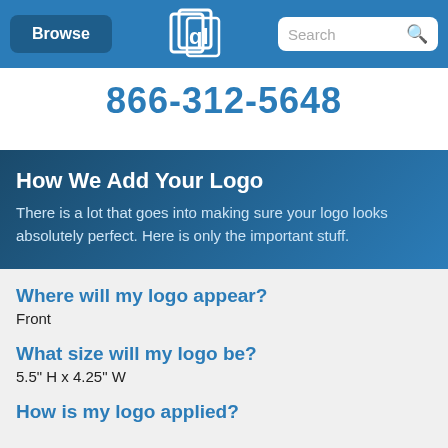Browse | [logo] | Search
866-312-5648
How We Add Your Logo
There is a lot that goes into making sure your logo looks absolutely perfect. Here is only the important stuff.
Where will my logo appear?
Front
What size will my logo be?
5.5" H x 4.25" W
How is my logo applied?